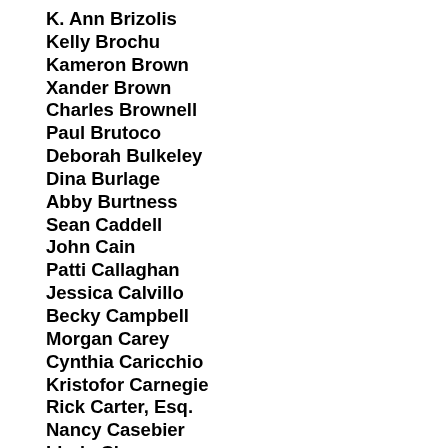K. Ann Brizolis
Kelly Brochu
Kameron Brown
Xander Brown
Charles Brownell
Paul Brutoco
Deborah Bulkeley
Dina Burlage
Abby Burtness
Sean Caddell
John Cain
Patti Callaghan
Jessica Calvillo
Becky Campbell
Morgan Carey
Cynthia Caricchio
Kristofor Carnegie
Rick Carter, Esq.
Nancy Casebier
Linda Chan
Julie Chang
Adam Chase
Millie Chase
Chen Ch...